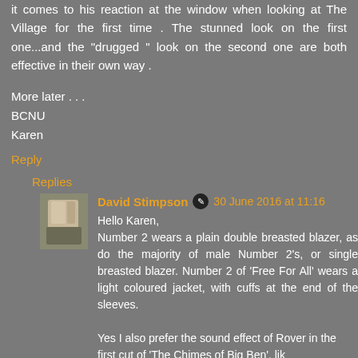it comes to his reaction at the window when looking at The Village for the first time . The stunned look on the first one...and the "drugged " look on the second one are both effective in their own way .
More later . . .
BCNU
Karen
Reply
Replies
David Stimpson  30 June 2016 at 11:16
Hello Karen,
Number 2 wears a plain double breasted blazer, as do the majority of male Number 2's, or single breasted blazer. Number 2 of 'Free For All' wears a light coloured jacket, with cuffs at the end of the sleeves.

Yes I also prefer the sound effect of Rover in the first cut of 'The Chimes of Big Ben', lik...